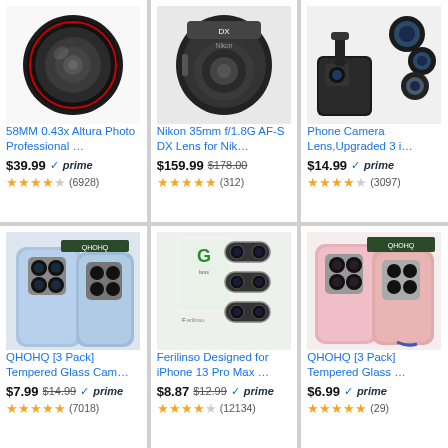[Figure (photo): 58MM 0.43x wide angle camera lens product photo]
58MM 0.43x Altura Photo Professional …
$39.99 ✓prime ★★★★☆ (6928)
[Figure (photo): Nikon 35mm f/1.8G AF-S DX lens product photo]
Nikon 35mm f/1.8G AF-S DX Lens for Nik…
$159.99 $178.00 ★★★★★ (312)
[Figure (photo): Phone Camera Lens clip-on kit with multiple lenses]
Phone Camera Lens,Upgraded 3 i…
$14.99 ✓prime ★★★★☆ (3097)
[Figure (photo): QHOHQ 3 Pack camera lens protector for iPhone]
QHOHQ [3 Pack] Tempered Glass Cam…
$7.99 $14.99 ✓prime ★★★★½ (7018)
[Figure (photo): Ferilinso camera lens protector for iPhone 13 Pro Max]
Ferilinso Designed for iPhone 13 Pro Max …
$8.87 $12.99 ✓prime ★★★★½ (12134)
[Figure (photo): QHOHQ 3 Pack tempered glass camera lens protector pink phone]
QHOHQ [3 Pack] Tempered Glass …
$6.99 ✓prime ★★★★★ (29)